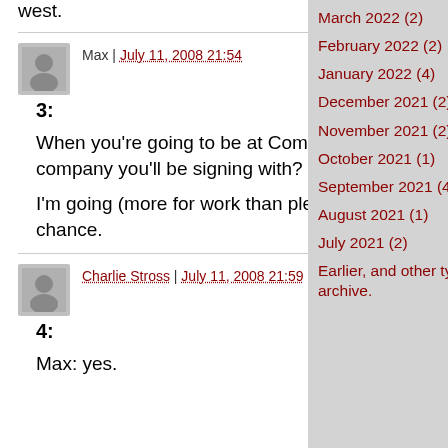west.
Max | July 11, 2008 21:54
3:
When you're going to be at Comicon, do you know what booth/ what company you'll be signing with?
I'm going (more for work than pleasure), so I'd love to say "Hi" if I get the chance.
Charlie Stross | July 11, 2008 21:59
4:
Max: yes.
March 2022 (2)
February 2022 (2)
January 2022 (4)
December 2021 (2)
November 2021 (2)
October 2021 (1)
September 2021 (4)
August 2021 (1)
July 2021 (2)
Earlier, and other types of archive.